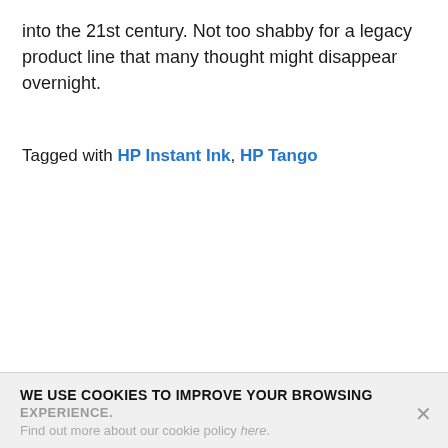into the 21st century. Not too shabby for a legacy product line that many thought might disappear overnight.
Tagged with HP Instant Ink, HP Tango
WE USE COOKIES TO IMPROVE YOUR BROWSING EXPERIENCE. Find out more about our cookie policy here.